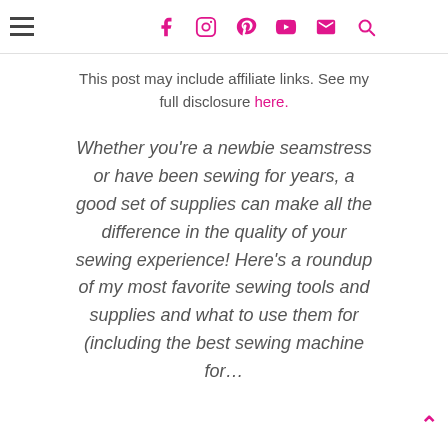☰ [social icons: facebook, instagram, pinterest, youtube, email, search]
This post may include affiliate links. See my full disclosure here.
Whether you're a newbie seamstress or have been sewing for years, a good set of supplies can make all the difference in the quality of your sewing experience! Here's a roundup of my most favorite sewing tools and supplies and what to use them for (including the best sewing machine for…